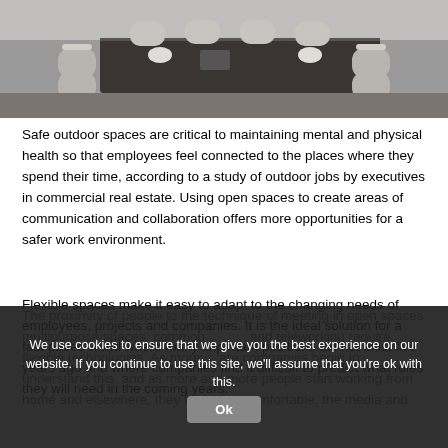[Figure (photo): Conference room or dining table with chairs, viewed from above/side angle, modern interior]
Safe outdoor spaces are critical to maintaining mental and physical health so that employees feel connected to the places where they spend their time, according to a study of outdoor jobs by executives in commercial real estate. Using open spaces to create areas of communication and collaboration offers more opportunities for a safer work environment.
Flexible spaces make it easy to adapt to the changing needs of employees, projects and companies. It is the ideal solution for a fast-paced world where many important positions did not exist five years ago and where companies find it difficult to predict what roles they will need in the coming years.
The proximity of people to the technique of meeting in open spaces We use cookies to ensure that we give you the best experience on our website. If you continue to use this site, we'll assume that you're ok with this. multipurpose spaces, common and teleworking require flexible technologies. As more companies begin to understand this, and as more and more people start working from home and elsewhere, they feel more comfortable, the media and
Ok